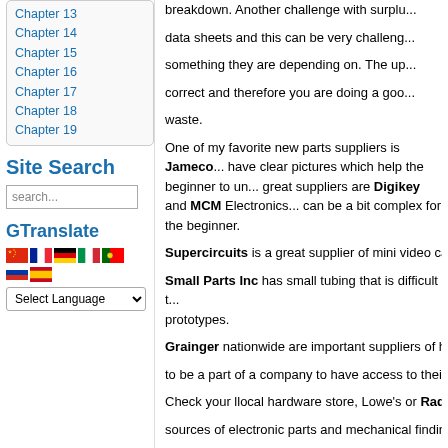Chapter 13
Chapter 14
Chapter 15
Chapter 16
Chapter 17
Chapter 18
Chapter 19
Site Search
search...
GTranslate
Select Language
breakdown. Another challenge with surplus parts may be getting data sheets and this can be very challenging if you are looking for something they are depending on. The upside is your design is correct and therefore you are doing a good job of reducing e-waste.
One of my favorite new parts suppliers is Jameco. They have clear pictures which help the beginner to understand. Two other great suppliers are Digikey and MCM Electronics. These sites can be a bit complex for the beginner.
Supercircuits is a great supplier of mini video ca...
Small Parts Inc has small tubing that is difficult to... prototypes.
Grainger nationwide are important suppliers of ha... to be a part of a company to have access to their...
Check your llocal hardware store, Lowe's or Radi... sources of electronic parts and mechanical finding... have hard to find small parts or are great sources...
McMaster Carr has one of the best websites for f... delivery is excellent.
When selecting electronic and mechanical parts f...
What voltage is the part good to? (remebe... voltage clearances)
What are the absolute maximum ratings fo...
What amperage is the part rated for?